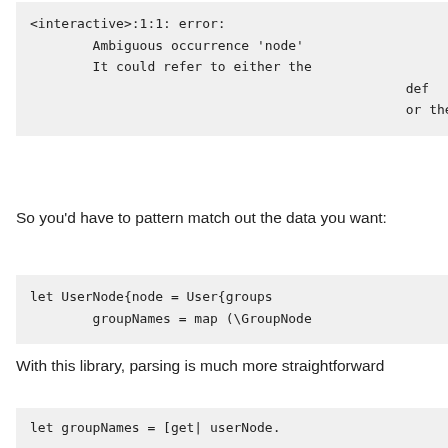<interactive>:1:1: error:
        Ambiguous occurrence 'node'
        It could refer to either the
                                                def
                                                or the
So you'd have to pattern match out the data you want:
let UserNode{node = User{groups
        groupNames = map (\GroupNode
With this library, parsing is much more straightforward
let groupNames = [get| userNode.